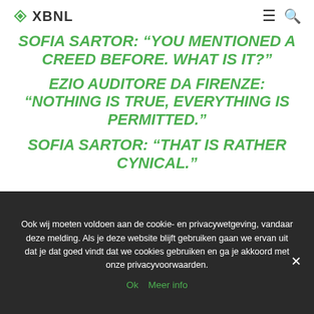XBNL
SOFIA SARTOR: “YOU MENTIONED A CREED BEFORE. WHAT IS IT?”
EZIO AUDITORE DA FIRENZE: “NOTHING IS TRUE, EVERYTHING IS PERMITTED.”
SOFIA SARTOR: “THAT IS RATHER CYNICAL.”
Ook wij moeten voldoen aan de cookie- en privacywetgeving, vandaar deze melding. Als je deze website blijft gebruiken gaan we ervan uit dat je dat goed vindt dat we cookies gebruiken en ga je akkoord met onze privacyvoorwaarden.
Ok  Meer info